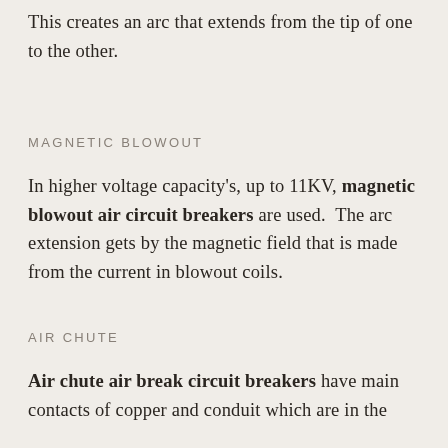This creates an arc that extends from the tip of one to the other.
MAGNETIC BLOWOUT
In higher voltage capacity's, up to 11KV, magnetic blowout air circuit breakers are used.  The arc extension gets by the magnetic field that is made from the current in blowout coils.
AIR CHUTE
Air chute air break circuit breakers have main contacts of copper and conduit which are in the